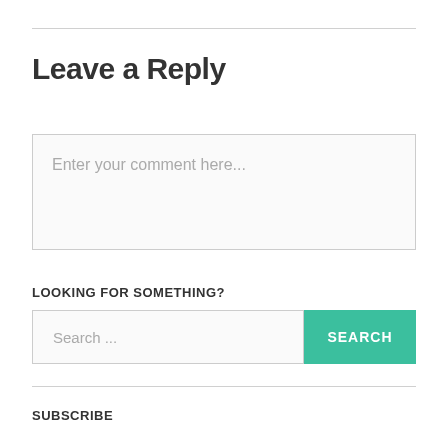Leave a Reply
Enter your comment here...
LOOKING FOR SOMETHING?
Search ...
SUBSCRIBE